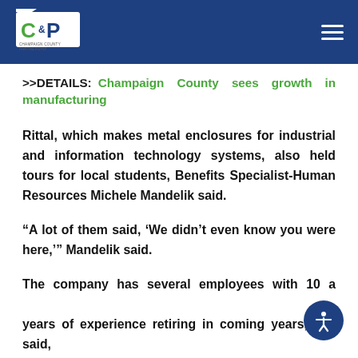CEP logo and navigation
>>DETAILS: Champaign County sees growth in manufacturing
Rittal, which makes metal enclosures for industrial and information technology systems, also held tours for local students, Benefits Specialist-Human Resources Michele Mandelik said.
“A lot of them said, ‘We didn’t even know you were here,’” Mandelik said.
The company has several employees with 10 a… years of experience retiring in coming years, she said,